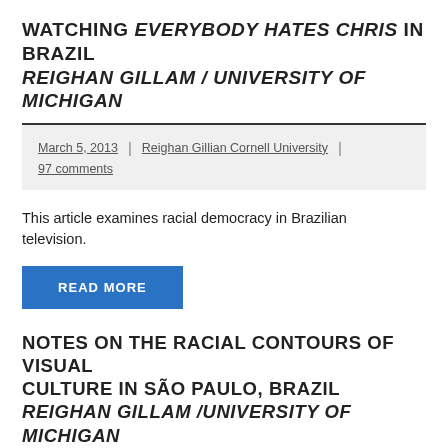WATCHING EVERYBODY HATES CHRIS IN BRAZIL REIGHAN GILLAM / UNIVERSITY OF MICHIGAN
March 5, 2013 | Reighan Gillian Cornell University | 97 comments
This article examines racial democracy in Brazilian television.
READ MORE
NOTES ON THE RACIAL CONTOURS OF VISUAL CULTURE IN SÃO PAULO, BRAZIL REIGHAN GILLAM /UNIVERSITY OF MICHIGAN